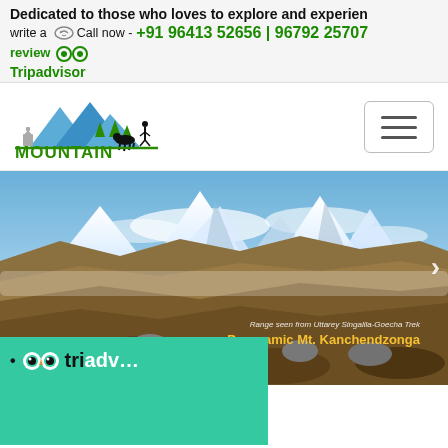Dedicated to those who loves to explore and experien write a ☎ Call now - +91 96413 52656 | 96792 25707 review 👦🏼👦🏼 Tripadvisor
[Figure (logo): Mountain Tours & Travels logo with mountain, trees, stupa, tent, yak and hiker silhouette in blue and green]
[Figure (photo): Panoramic mountain landscape with Himalayan peaks, brown hills and rocky foreground. Caption: Panoramic Mt. Kanchendzonga]
Panoramic Mt. Kanchendzonga
[Figure (logo): TripAdvisor green widget with owl logo and 'tripadvisor' text partial]